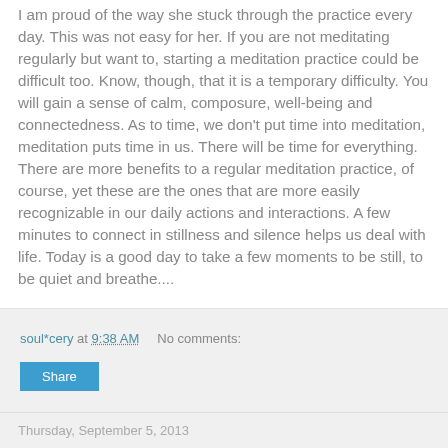I am proud of the way she stuck through the practice every day. This was not easy for her. If you are not meditating regularly but want to, starting a meditation practice could be difficult too. Know, though, that it is a temporary difficulty. You will gain a sense of calm, composure, well-being and connectedness. As to time, we don't put time into meditation, meditation puts time in us. There will be time for everything. There are more benefits to a regular meditation practice, of course, yet these are the ones that are more easily recognizable in our daily actions and interactions. A few minutes to connect in stillness and silence helps us deal with life. Today is a good day to take a few moments to be still, to be quiet and breathe....
soul*cery at 9:38 AM   No comments:
Thursday, September 5, 2013